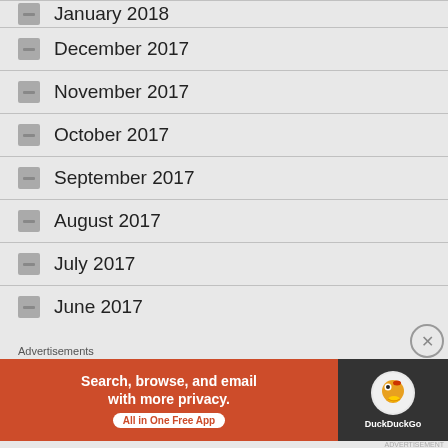January 2018
December 2017
November 2017
October 2017
September 2017
August 2017
July 2017
June 2017
Advertisements
[Figure (screenshot): DuckDuckGo advertisement banner: orange left section with text 'Search, browse, and email with more privacy. All in One Free App', dark right section with DuckDuckGo circular logo and DuckDuckGo text]